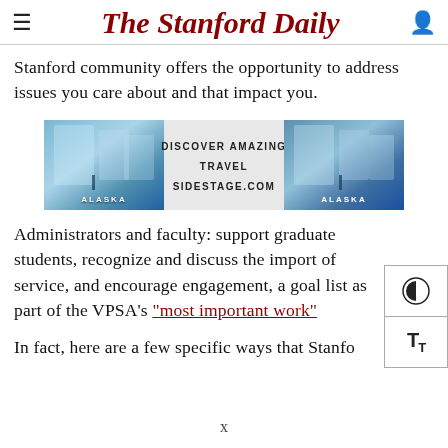The Stanford Daily
Stanford community offers the opportunity to address issues you care about and that impact you.
[Figure (other): Advertisement banner for Alaska travel: two glacier/ice images on left and right with text 'DISCOVER AMAZING TRAVEL SIDESTAGE.COM' in center and 'ALASKA' labels on the images.]
Administrators and faculty: support graduate students, recognize and discuss the import of service, and encourage engagement, a goal listed as part of the VPSA’s “most important work”
In fact, here are a few specific ways that Stanford community...